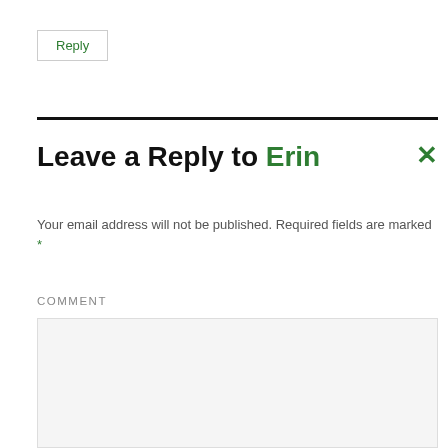Reply
Leave a Reply to Erin
Your email address will not be published. Required fields are marked *
COMMENT